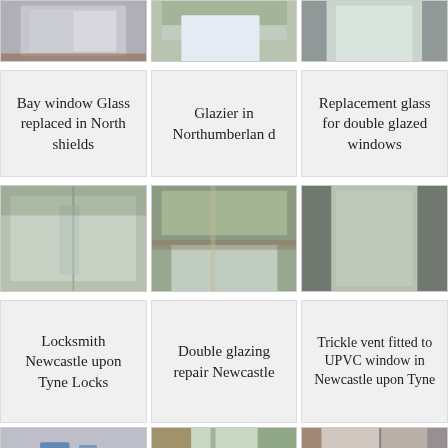[Figure (photo): Top row of three window/glazing photos]
Bay window Glass replaced in North shields
Glazier in Northumberland
Replacement glass for double glazed windows
[Figure (photo): Middle row of three window/glazing photos]
Locksmith Newcastle upon Tyne Locks
Double glazing repair Newcastle
Trickle vent fitted to UPVC window in Newcastle upon Tyne
[Figure (photo): Bottom row of three window/door photos (partially visible)]